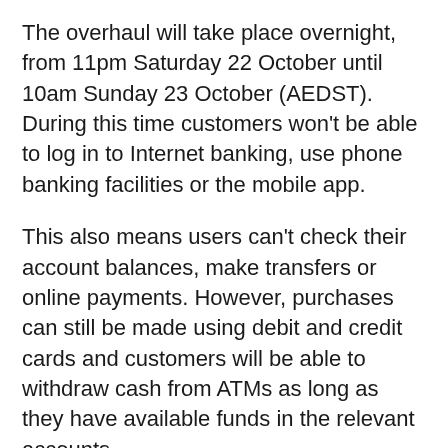The overhaul will take place overnight, from 11pm Saturday 22 October until 10am Sunday 23 October (AEDST). During this time customers won't be able to log in to Internet banking, use phone banking facilities or the mobile app.
This also means users can't check their account balances, make transfers or online payments. However, purchases can still be made using debit and credit cards and customers will be able to withdraw cash from ATMs as long as they have available funds in the relevant accounts.
Once the new internet banking site is launched, customers will be again able to login from the ME